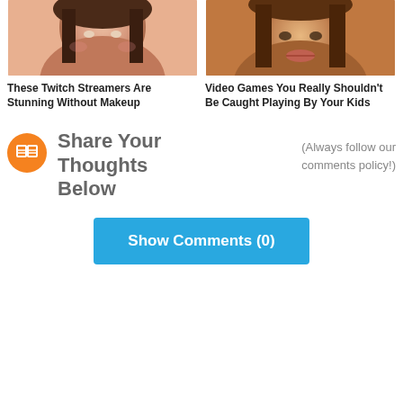[Figure (photo): Close-up photo of a young woman's face, slight smile, dark hair, rosy cheeks]
[Figure (photo): Close-up photo of a woman's face and lips, warm golden lighting, dark hair]
These Twitch Streamers Are Stunning Without Makeup
Video Games You Really Shouldn't Be Caught Playing By Your Kids
Share Your Thoughts Below
(Always follow our comments policy!)
Show Comments (0)